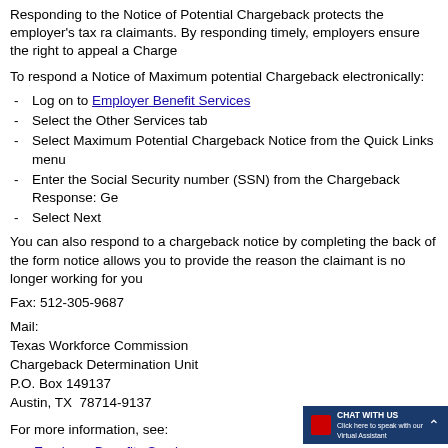Responding to the Notice of Potential Chargeback protects the employer's tax ra claimants. By responding timely, employers ensure the right to appeal a Charge
To respond a Notice of Maximum potential Chargeback electronically:
Log on to Employer Benefit Services
Select the Other Services tab
Select Maximum Potential Chargeback Notice from the Quick Links menu
Enter the Social Security number (SSN) from the Chargeback Response: Ge
Select Next
You can also respond to a chargeback notice by completing the back of the form notice allows you to provide the reason the claimant is no longer working for you
Fax: 512-305-9687
Mail:
Texas Workforce Commission
Chargeback Determination Unit
P.O. Box 149137
Austin, TX  78714-9137
For more information, see:
Employer Benefits Services
Our user guide on Employer Benefits Services: Other Services